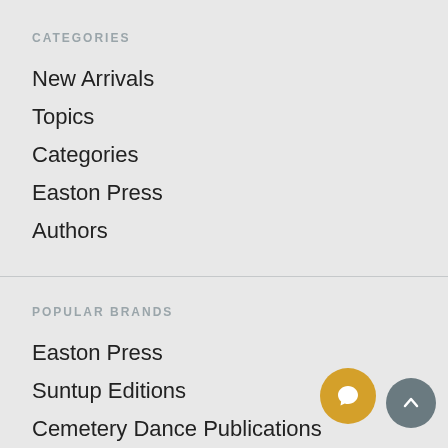CATEGORIES
New Arrivals
Topics
Categories
Easton Press
Authors
POPULAR BRANDS
Easton Press
Suntup Editions
Cemetery Dance Publications
Knopf Publishers
Gauntlet Press